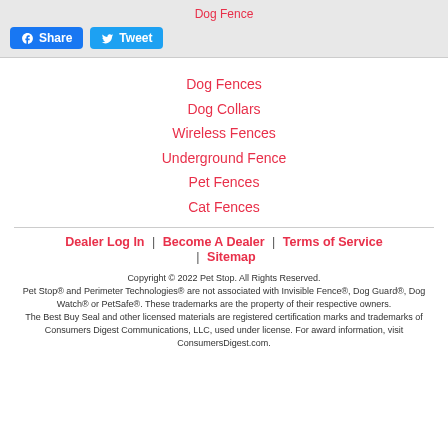Dog Fence
Share
Tweet
Dog Fences
Dog Collars
Wireless Fences
Underground Fence
Pet Fences
Cat Fences
Dealer Log In | Become A Dealer | Terms of Service | Sitemap
Copyright © 2022 Pet Stop. All Rights Reserved. Pet Stop® and Perimeter Technologies® are not associated with Invisible Fence®, Dog Guard®, Dog Watch® or PetSafe®. These trademarks are the property of their respective owners. The Best Buy Seal and other licensed materials are registered certification marks and trademarks of Consumers Digest Communications, LLC, used under license. For award information, visit ConsumersDigest.com.